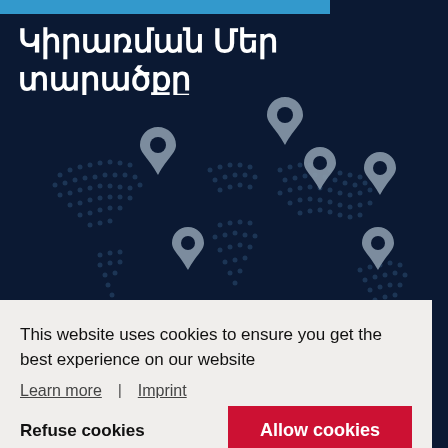Կիրառման Մեր տարածքը
[Figure (illustration): World map with dotted pattern on dark navy background, showing 6 location pin markers placed at various geographic locations across the continents.]
This website uses cookies to ensure you get the best experience on our website
Learn more | Imprint
Refuse cookies
Allow cookies